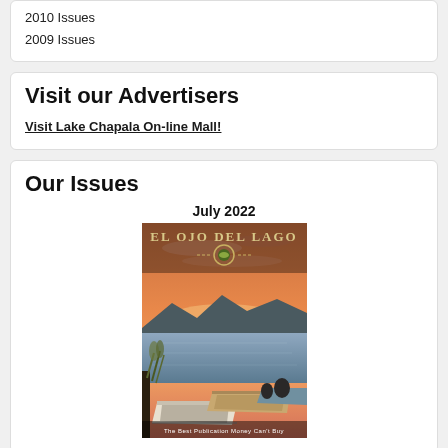2010 Issues
2009 Issues
Visit our Advertisers
Visit Lake Chapala On-line Mall!
Our Issues
July 2022
[Figure (photo): Cover of El Ojo del Lago magazine, July 2022 issue, showing wooden boats docked at a pier on Lake Chapala at sunset, with the magazine title 'El Ojo Del Lago' at the top and tagline 'The Best Publication Money Can't Buy' at the bottom.]